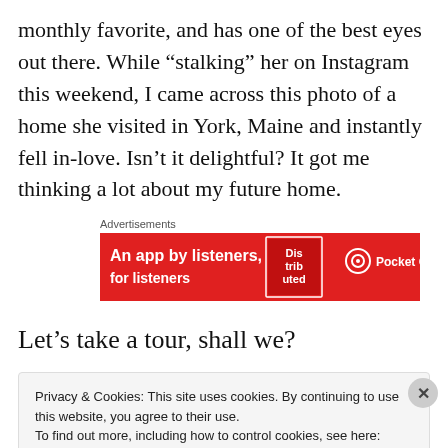monthly favorite, and has one of the best eyes out there. While “stalking” her on Instagram this weekend, I came across this photo of a home she visited in York, Maine and instantly fell in-love. Isn’t it delightful? It got me thinking a lot about my future home.
[Figure (other): Advertisement banner for Pocket Casts app: red background with text 'An app by listeners, for listeners' and Pocket Casts logo]
Let’s take a tour, shall we?
Privacy & Cookies: This site uses cookies. By continuing to use this website, you agree to their use.
To find out more, including how to control cookies, see here: Cookie Policy